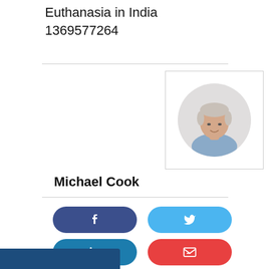Euthanasia in India
1369577264
[Figure (photo): Circular portrait photo of Michael Cook, a man with short grey hair, against a white background, enclosed in a square bordered frame]
Michael Cook
[Figure (infographic): Social media sharing buttons: Facebook (dark blue), Twitter (light blue), LinkedIn (teal blue), Email (red), WhatsApp (green)]